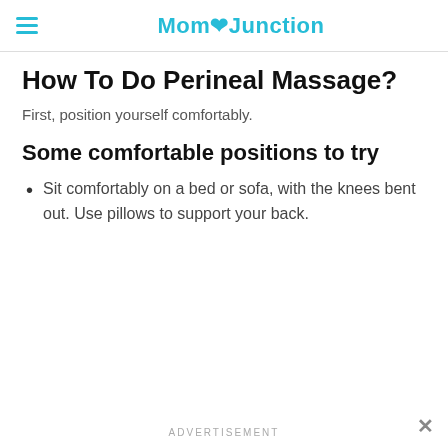MomJunction
How To Do Perineal Massage?
First, position yourself comfortably.
Some comfortable positions to try
Sit comfortably on a bed or sofa, with the knees bent out. Use pillows to support your back.
ADVERTISEMENT